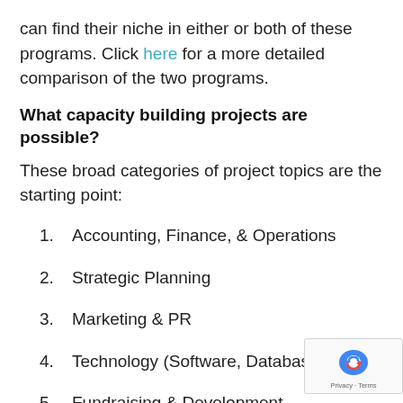can find their niche in either or both of these programs. Click here for a more detailed comparison of the two programs.
What capacity building projects are possible?
These broad categories of project topics are the starting point:
1. Accounting, Finance, & Operations
2. Strategic Planning
3. Marketing & PR
4. Technology (Software, Database, IT)
5. Fundraising & Development
6. Volunteer Engagement